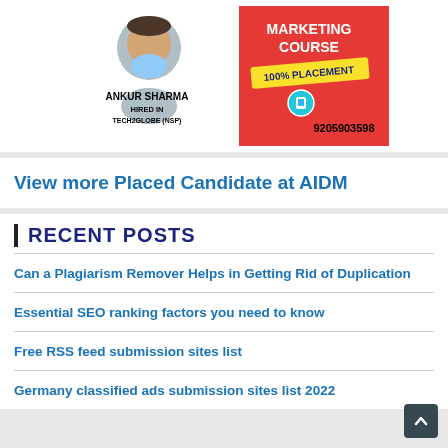[Figure (infographic): Advertisement for a Marketing Course featuring a photo of Ankur Sharma, text 'MARKETING COURSE', '100% PLACEMENT', phone icon, '9205903598', and 'ANKUR SHARMA HIRED IN TECH2GLOBE (NSP)']
View more Placed Candidate at AIDM
RECENT POSTS
Can a Plagiarism Remover Helps in Getting Rid of Duplication
Essential SEO ranking factors you need to know
Free RSS feed submission sites list
Germany classified ads submission sites list 2022